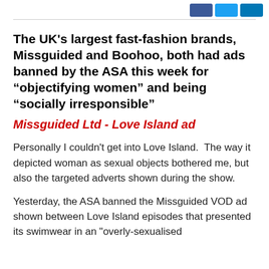The UK’s largest fast-fashion brands, Missguided and Boohoo, both had ads banned by the ASA this week for “objectifying women” and being “socially irresponsible”
Missguided Ltd - Love Island ad
Personally I couldn't get into Love Island.  The way it depicted woman as sexual objects bothered me, but also the targeted adverts shown during the show.
Yesterday, the ASA banned the Missguided VOD ad shown between Love Island episodes that presented its swimwear in an "overly-sexualised